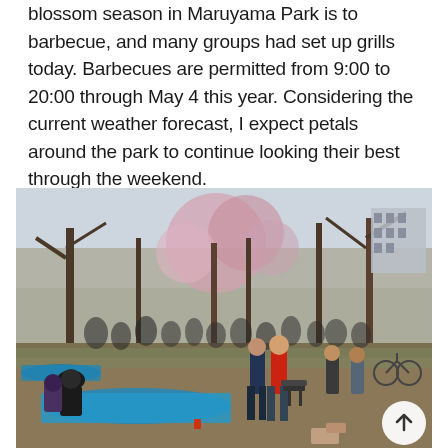blossom season in Maruyama Park is to barbecue, and many groups had set up grills today. Barbecues are permitted from 9:00 to 20:00 through May 4 this year. Considering the current weather forecast, I expect petals around the park to continue looking their best through the weekend.
[Figure (photo): Outdoor photo of Maruyama Park during cherry blossom season. Many groups of people are sitting on blue tarps on the ground under bare and cherry blossom trees. In the foreground, a person in a red jacket stands near a barbecue grill. Large blue tarps are spread on the ground. Trees with pink blossoms are visible in the middle distance. A building is visible in the upper right background. A white circular back-to-top button with an upward arrow is in the lower right corner of the image.]